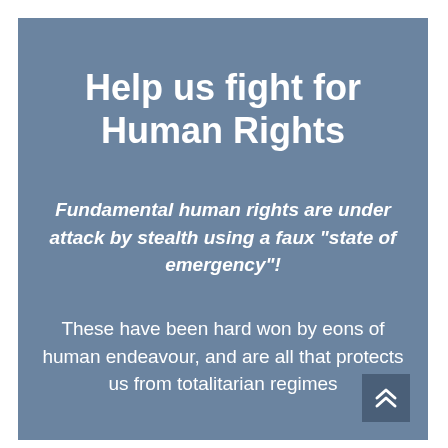Help us fight for Human Rights
Fundamental human rights are under attack by stealth using a faux "state of emergency"!
These have been hard won by eons of human endeavour, and are all that protects us from totalitarian regimes